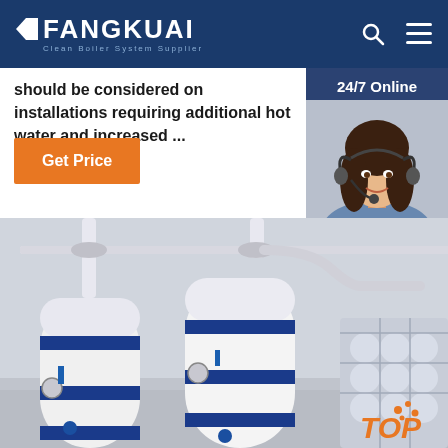FANGKUAI Clean Boiler System Supplier
should be considered on installations requiring additional hot water and increased ...
[Figure (other): Orange 'Get Price' button]
[Figure (other): 24/7 Online customer service panel with female agent wearing headset, 'Click here for free chat!' text, and orange QUOTATION button]
[Figure (photo): Industrial boiler system product image showing white and blue cylindrical boilers with piping and a modular storage tank unit]